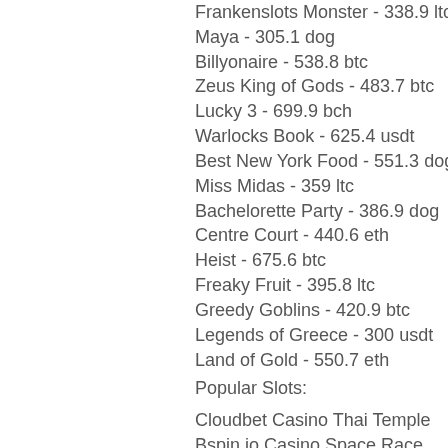Frankenslots Monster - 338.9 ltc
Maya - 305.1 dog
Billyonaire - 538.8 btc
Zeus King of Gods - 483.7 btc
Lucky 3 - 699.9 bch
Warlocks Book - 625.4 usdt
Best New York Food - 551.3 dog
Miss Midas - 359 ltc
Bachelorette Party - 386.9 dog
Centre Court - 440.6 eth
Heist - 675.6 btc
Freaky Fruit - 395.8 ltc
Greedy Goblins - 420.9 btc
Legends of Greece - 300 usdt
Land of Gold - 550.7 eth
Popular Slots:
Cloudbet Casino Thai Temple
Bspin.io Casino Space Race
CryptoGames Hercules Son of Zeus